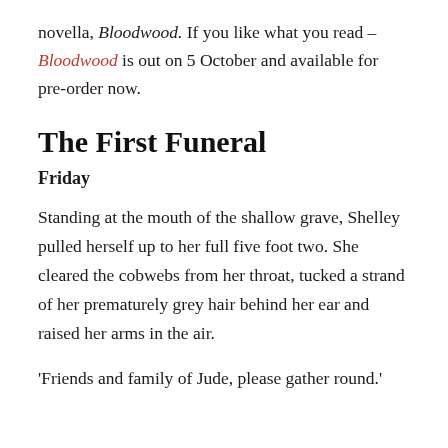novella, Bloodwood. If you like what you read – Bloodwood is out on 5 October and available for pre-order now.
The First Funeral
Friday
Standing at the mouth of the shallow grave, Shelley pulled herself up to her full five foot two. She cleared the cobwebs from her throat, tucked a strand of her prematurely grey hair behind her ear and raised her arms in the air.
'Friends and family of Jude, please gather round.'